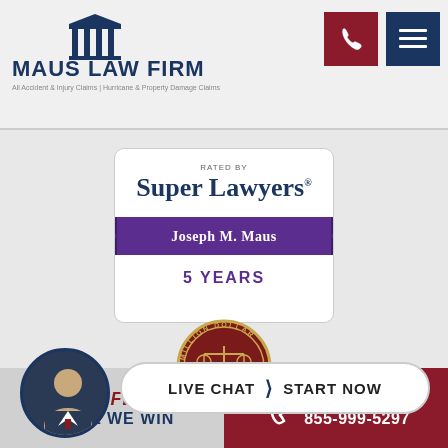[Figure (logo): Maus Law Firm logo with pillars icon and text 'MAUS LAW FIRM' and tagline 'All Accident & Injury Claims | Hurricane & Property Damage Claims']
[Figure (screenshot): Super Lawyers badge: RATED BY Super Lawyers, Joseph M. Maus, 5 YEARS]
[Figure (logo): Million Dollar Advocates Forum circular seal with scales of justice]
[Figure (photo): Circular portrait photo of attorney in suit]
LIVE CHAT   START NOW
NO FEE UNTIL WE WIN
Call Us 855-999-5297